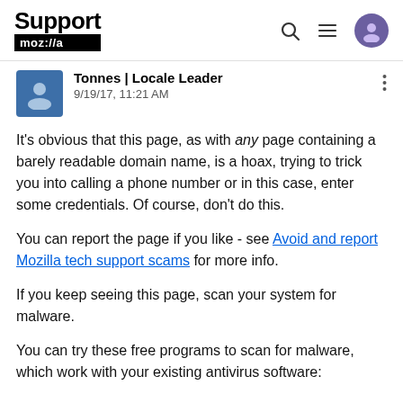Support mozilla
Tonnes | Locale Leader
9/19/17, 11:21 AM
It's obvious that this page, as with any page containing a barely readable domain name, is a hoax, trying to trick you into calling a phone number or in this case, enter some credentials. Of course, don't do this.
You can report the page if you like - see Avoid and report Mozilla tech support scams for more info.
If you keep seeing this page, scan your system for malware.
You can try these free programs to scan for malware, which work with your existing antivirus software:
Microsoft Safety Scanner